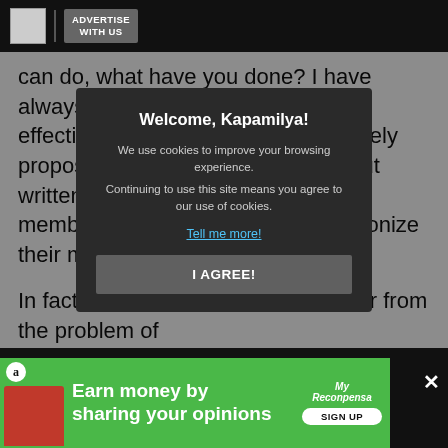ADVERTISE WITH US
can do, what have you done? I have always believed that the job of an effective legislator goes beyond merely proposing laws, for what are laws but written agreements entered into by members of society on how to harmonize their mutual relations?
In fact, I do not believe that we suffer from the problem of lack of laws. Some form ... measures w... response to an appe... ut some order into ... hose that have been ... ers are at times conf...
Consider t... gets to
[Figure (screenshot): Cookie consent modal overlay: 'Welcome, Kapamilya!' title, text about cookies, 'Tell me more!' link, and 'I AGREE!' button on dark background]
[Figure (infographic): Green advertisement banner: 'Earn money by sharing your opinions' with MyReconpensa logo and SIGN UP button]